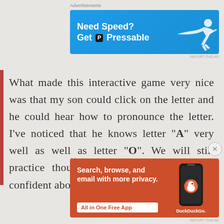Advertisements
[Figure (infographic): Pressable web hosting advertisement banner with blue background showing 'Need Speed? Get P Pressable' text and a person flying horizontally]
What made this interactive game very nice was that my son could click on the letter and he could hear how to pronounce the letter. I've noticed that he knows letter "A" very well as well as letter "O". We will still practice though so that he can be more confident about his abilities.
Advertisements
[Figure (infographic): DuckDuckGo advertisement banner with orange background showing 'Search, browse, and email with more privacy. All in One Free App' with DuckDuckGo logo and phone mockup]